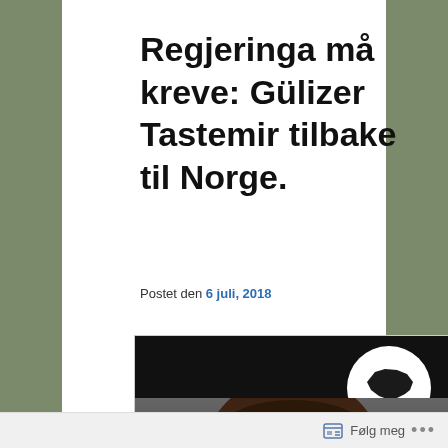Regjeringa må kreve: Gülizer Tastemir tilbake til Norge.
Postet den 6 juli, 2018
[Figure (photo): Photo of a woman with long dark hair against a dark background, with a 'Solidaritet Med Kurdistan' logo (white circle with map of Kurdistan) in the top right corner.]
Følg meg ...